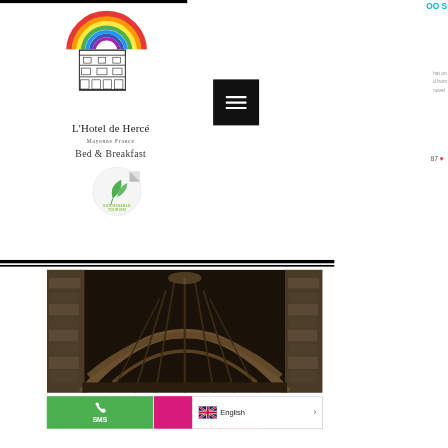[Figure (logo): L'Hotel de Hercé logo with rainbow arc, building illustration, hotel name, Mayenne France subtitle, Bed & Breakfast text, and sustainable tourism badge]
[Figure (photo): Interior photo of a stone building with arched wooden roof/ceiling structure, showing vaulted timber framework and stone walls]
[Figure (screenshot): Mobile website screenshot showing SMS, Email, and Facebook buttons at the bottom, with English language selector]
87
SMS
Email
English